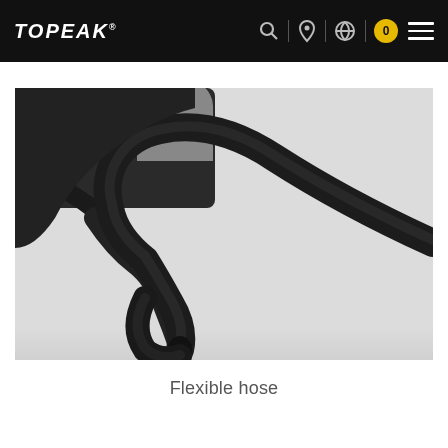TOPEAK® — Navigation bar with search, location, globe icons, cart (0), and menu
[Figure (photo): Close-up product photo of a flexible rubber hose attached to a bicycle pump or similar device, shown against a light grey background. The black hose curves downward from the pump body.]
Flexible hose